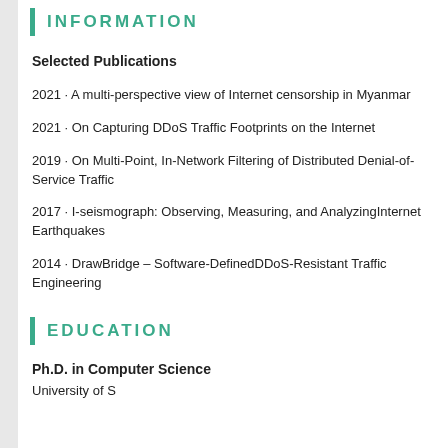INFORMATION
Selected Publications
2021 · A multi-perspective view of Internet censorship in Myanmar
2021 · On Capturing DDoS Traffic Footprints on the Internet
2019 · On Multi-Point, In-Network Filtering of Distributed Denial-of-Service Traffic
2017 · I-seismograph: Observing, Measuring, and AnalyzingInternet Earthquakes
2014 · DrawBridge – Software-DefinedDDoS-Resistant Traffic Engineering
EDUCATION
Ph.D. in Computer Science
University of S...